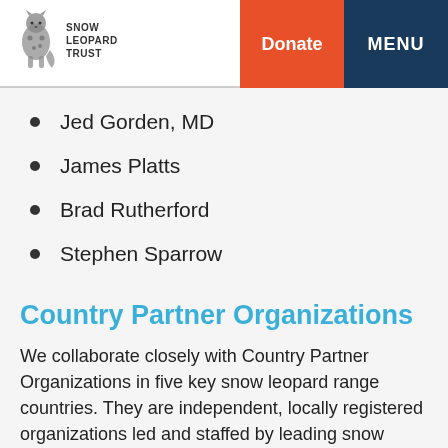Snow Leopard Trust | Donate | MENU
Jed Gorden, MD
James Platts
Brad Rutherford
Stephen Sparrow
Country Partner Organizations
We collaborate closely with Country Partner Organizations in five key snow leopard range countries. They are independent, locally registered organizations led and staffed by leading snow leopard